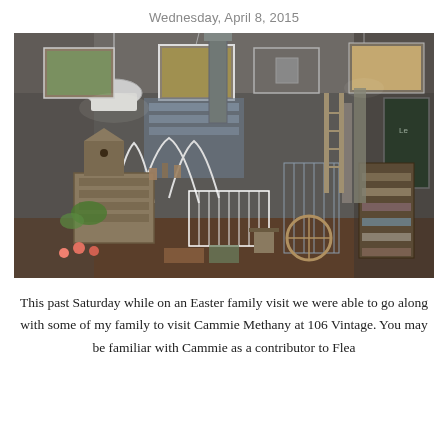Wednesday, April 8, 2015
[Figure (photo): Interior of a vintage/antique shop filled with eclectic items including hanging pendant lamps, wire displays, wooden shelves, vintage furniture, plants, frames, and various decorative objects arranged densely throughout the space.]
This past Saturday while on an Easter family visit we were able to go along with some of my family to visit Cammie Methany at 106 Vintage. You may be familiar with Cammie as a contributor to Flea